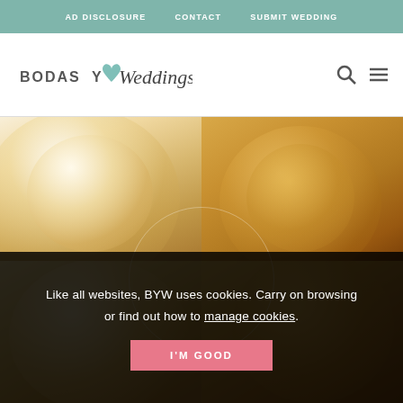AD DISCLOSURE | CONTACT | SUBMIT WEDDING
[Figure (logo): Bodas y Weddings logo with teal heart]
[Figure (photo): Four-panel photo collage of coconut macaroon cookies]
Like all websites, BYW uses cookies. Carry on browsing or find out how to manage cookies.
I'M GOOD